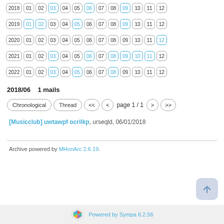2018 row: 01 02 03(blue) 04 05 06(blue) 07 08 09(blue) 10 11 12
2019 row: 01(blue) 02(blue) 03 04 05(blue) 06 07 08 09(blue) 10 11 12
2020 row: 01 02 03 04 05 06 07 08 09 10 11 12(blue)
2021 row: 01 02 03(blue) 04 05 06(blue) 07 08(blue) 09(blue) 10(blue) 11(blue) 12
2022 row: 01 02 03(blue) 04 05(blue) 06 07 08(blue) 09 10 11 12
2018/06    1 mails
Chronological  Thread  <<  <  page 1 / 1  >  >>
[Musicclub] uwtawpf ocrilkp, urseqld, 06/01/2018
Archive powered by MHonArc 2.6.19.
Powered by Sympa 6.2.56